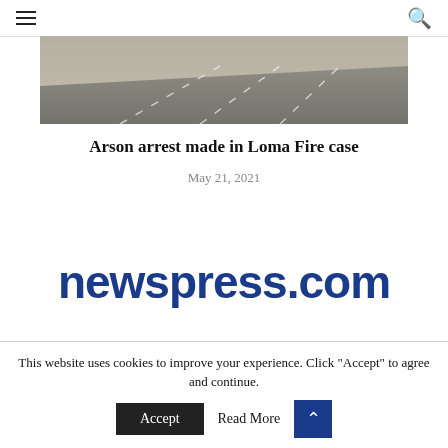≡ (hamburger menu) | 🔍 (search icon)
[Figure (photo): Aerial or road photo showing a highway with lane markings, hazy/smoky atmosphere, possibly fire-related]
Arson arrest made in Loma Fire case
May 21, 2021
[Figure (logo): newspress.com logo in large bold dark blue text]
This website uses cookies to improve your experience. Click "Accept" to agree and continue.